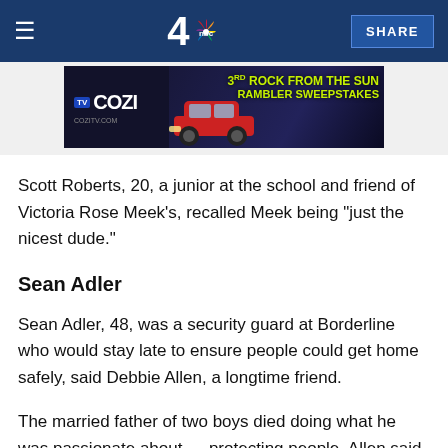NBC 4 - SHARE
[Figure (screenshot): COZI TV advertisement banner - 3rd Rock from the Sun Rambler Sweepstakes]
Scott Roberts, 20, a junior at the school and friend of Victoria Rose Meek's, recalled Meek being "just the nicest dude."
Sean Adler
Sean Adler, 48, was a security guard at Borderline who would stay late to ensure people could get home safely, said Debbie Allen, a longtime friend.
The married father of two boys died doing what he was passionate about — protecting people, Allen said.